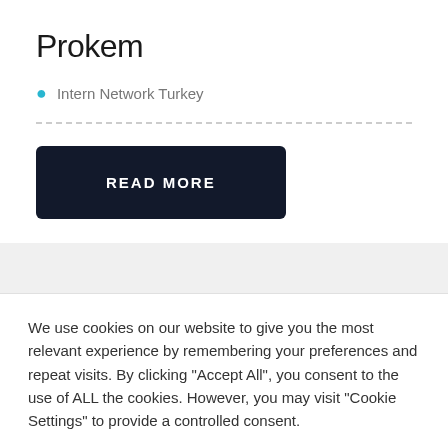Prokem
Intern Network Turkey
READ MORE
We use cookies on our website to give you the most relevant experience by remembering your preferences and repeat visits. By clicking "Accept All", you consent to the use of ALL the cookies. However, you may visit "Cookie Settings" to provide a controlled consent.
Cookie Settings
Accept All